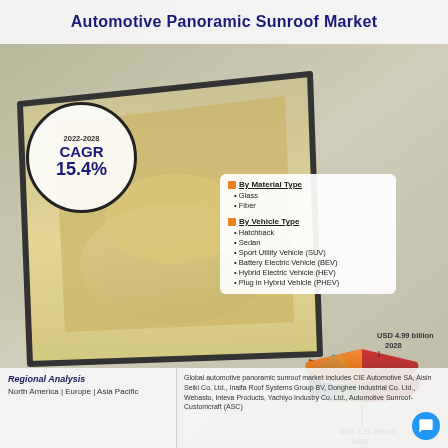Automotive Panoramic Sunroof Market
[Figure (infographic): Infographic showing automotive panoramic sunroof market with CAGR circle (2022-2028, 15.4%), stylized car interior/sunroof image, segmentation info boxes, 3D pie/donut chart showing USD 2.21 billion (2021) and USD 4.99 billion (2028), regional analysis, and company list.]
2022-2028
CAGR
15.4%
By Material Type
• Glass
• Fiber
By Vehicle Type
• Hatchback
• Sedan
• Sport Utility Vehicle (SUV)
• Battery Electric Vehicle (BEV)
• Hybrid Electric Vehicle (HEV)
• Plug in Hybrid Vehicle (PHEV)
USD 4.99 billion
2028
USD 2.21 billion
2021
Regional Analysis
North America | Europe | Asia Pacific
Global automotive panoramic sunroof market includes CIE Automotive SA, Aisin Seiki Co. Ltd., Inalfa Roof Systems Group BV, Donghee Industrial Co. Ltd., Webasto, Inteva Products, Yachiyo Industry Co. Ltd., Automotive Sunroof-Customcraft (ASC)